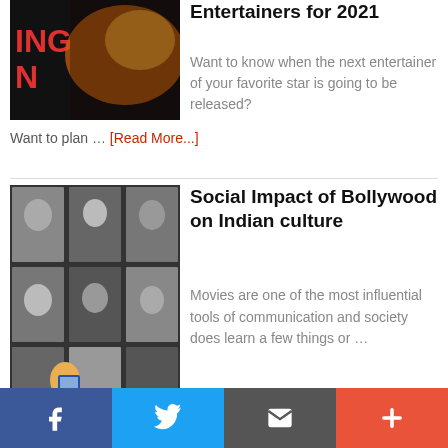[Figure (photo): Blurred colorful image, partial text ING N visible on left]
Entertainers for 2021
Want to know when the next entertainer of your favorite star is going to be released? Want to plan … [Read More...]
[Figure (photo): Black and white grid of Bollywood film photos, person photographing them with a tablet]
Social Impact of Bollywood on Indian culture
Movies are one of the most influential tools of communication and society does learn a few things or … [Read More...]